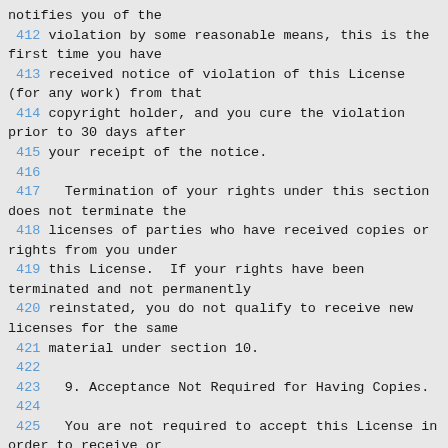notifies you of the
 412 violation by some reasonable means, this is the first time you have
 413 received notice of violation of this License (for any work) from that
 414 copyright holder, and you cure the violation prior to 30 days after
 415 your receipt of the notice.
 416
 417   Termination of your rights under this section does not terminate the
 418 licenses of parties who have received copies or rights from you under
 419 this License.  If your rights have been terminated and not permanently
 420 reinstated, you do not qualify to receive new licenses for the same
 421 material under section 10.
 422
 423   9. Acceptance Not Required for Having Copies.
 424
 425   You are not required to accept this License in order to receive or
 426 run a copy of the Program.  Ancillary propagation of a covered work